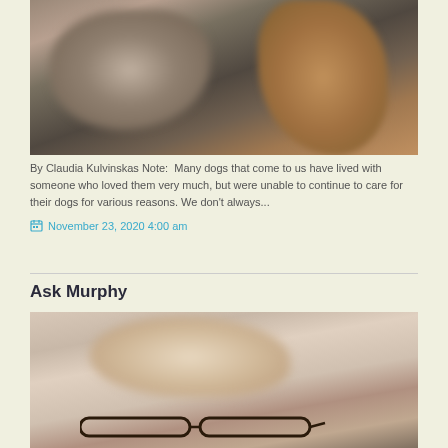[Figure (photo): Close-up blurry photo of a dog, showing fur details in gray and brown tones]
By Claudia Kulvinskas Note:  Many dogs that come to us have lived with someone who loved them very much, but were unable to continue to care for their dogs for various reasons. We don't always...
November 23, 2020 4:00 am
Ask Murphy
[Figure (photo): Close-up blurry photo of a dog wearing glasses, showing fur and glasses frames at the bottom]